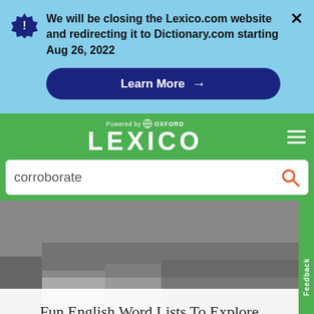We will be closing the Lexico.com website and redirecting it to Dictionary.com starting Aug 26, 2022
Learn More →
[Figure (logo): Lexico powered by Oxford logo on green header with hamburger menu]
corroborate
Fun English Word Lists To Explore
READ THESE ARTICLES ❯
Feedback